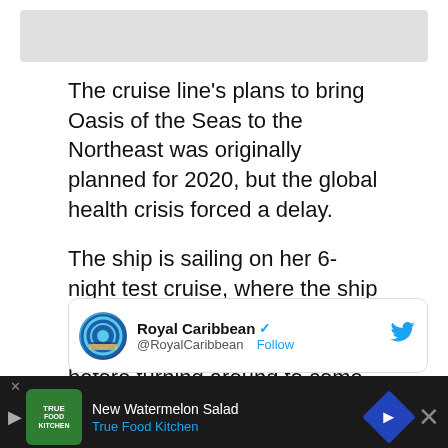[Figure (other): Gray placeholder image at top of article]
The cruise line's plans to bring Oasis of the Seas to the Northeast was originally planned for 2020, but the global health crisis forced a delay.
The ship is sailing on her 6-night test cruise, where the ship will visit Perfect Day at CocoCay in The Bahamas before turning around to come home.
[Figure (screenshot): Twitter/X card showing Royal Caribbean account with verified checkmark and Follow link, with Twitter bird icon top right]
[Figure (screenshot): Advertisement bar at bottom: True Food Kitchen - New Watermelon Salad ad with navigation icon and close button]